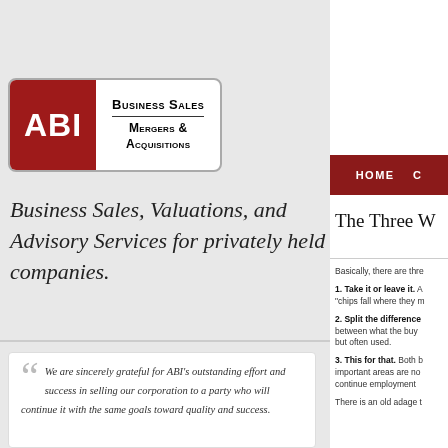[Figure (logo): ABI logo with red square showing ABI text and white box with 'Business Sales / Mergers & Acquisitions' text]
[Figure (screenshot): Navigation bar with dark red background showing HOME and C... menu items]
Business Sales, Valuations, and Advisory Services for privately held companies.
The Three W
Basically, there are thre
1. Take it or leave it. A "chips fall where they m
2. Split the difference between what the buy but often used.
3. This for that. Both b important areas are no continue employment
There is an old adage t
We are sincerely grateful for ABI's outstanding effort and success in selling our corporation to a party who will continue it with the same goals toward quality and success.